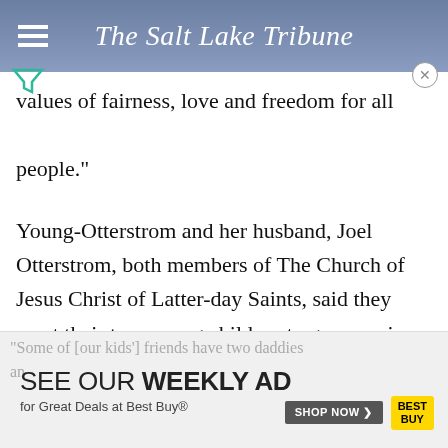The Salt Lake Tribune
values of fairness, love and freedom for all people."
Young-Otterstrom and her husband, Joel Otterstrom, both members of The Church of Jesus Christ of Latter-day Saints, said they want their two young children to grow up in a state where different families are treated equally.
[Figure (screenshot): Best Buy weekly ad advertisement overlay with 'SEE OUR WEEKLY AD for Great Deals at Best Buy®' text, Shop Now button, and Best Buy logo]